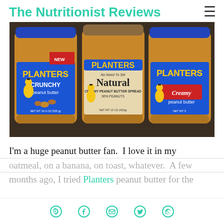The Nutritionist Reviews
[Figure (photo): Three jars of Planters peanut butter side by side: Crunchy peanut butter (left, blue label), Natural No Need To Stir Creamy peanut butter with 90% peanuts (center, beige/tan label), and Creamy peanut butter (right, blue label with red accent).]
I'm a huge peanut butter fan.  I love it in my oatmeal, on a banana, on toast, whatever.  A few months ago, I tried Planters peanut butter for the
Share icons: Pinterest, Facebook, Email, Twitter, WhatsApp